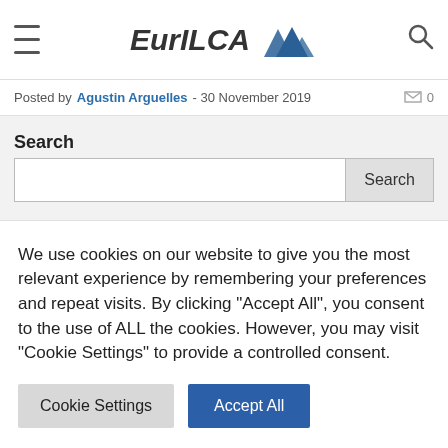EurILCA
Posted by Agustin Arguelles - 30 November 2019
Search
LATEST NEWS
We use cookies on our website to give you the most relevant experience by remembering your preferences and repeat visits. By clicking "Accept All", you consent to the use of ALL the cookies. However, you may visit "Cookie Settings" to provide a controlled consent.